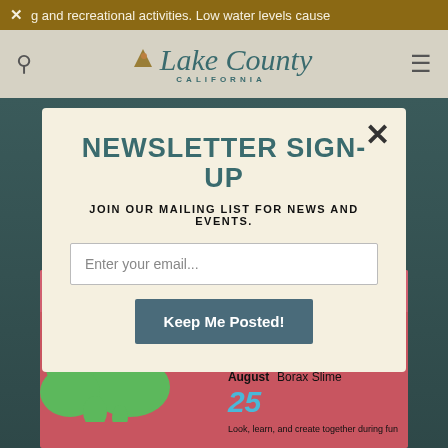✕ g and recreational activities. Low water levels cause
[Figure (logo): Lake County California logo with mountain/lake icon and stylized script text]
NEWSLETTER SIGN-UP
JOIN OUR MAILING LIST FOR NEWS AND EVENTS.
Enter your email...
Keep Me Posted!
[Figure (infographic): Thursdays event card showing Lower Lake Schoolhouse Museum 11:30-1:00, green slime blob, August 25 Borax Slime event - Look, learn, and create together during fun]